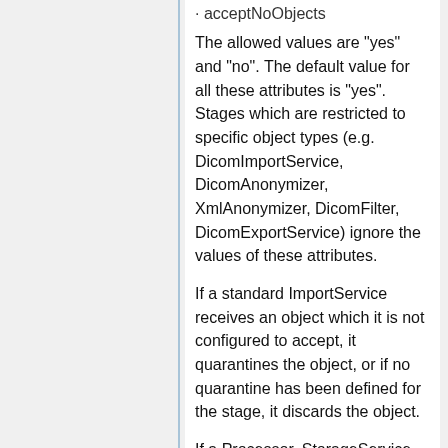acceptNoObjects
The allowed values are "yes" and "no". The default value for all these attributes is "yes". Stages which are restricted to specific object types (e.g. DicomImportService, DicomAnonymizer, XmlAnonymizer, DicomFilter, DicomExportService) ignore the values of these attributes.
If a standard ImportService receives an object which it is not configured to accept, it quarantines the object, or if no quarantine has been defined for the stage, it discards the object.
If a Processor, StorageService, or ExportService receives an object that it is not configured to accept, it either ignores the object or passes it unmodified to the next pipeline stage. Thus, if an anonymizer which is not